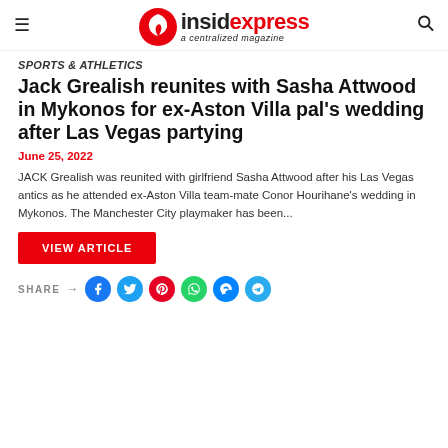insidexpress a centralized magazine
Sports & Athletics
Jack Grealish reunites with Sasha Attwood in Mykonos for ex-Aston Villa pal's wedding after Las Vegas partying
June 25, 2022
JACK Grealish was reunited with girlfriend Sasha Attwood after his Las Vegas antics as he attended ex-Aston Villa team-mate Conor Hourihane's wedding in Mykonos. The Manchester City playmaker has been...
VIEW ARTICLE
SHARE